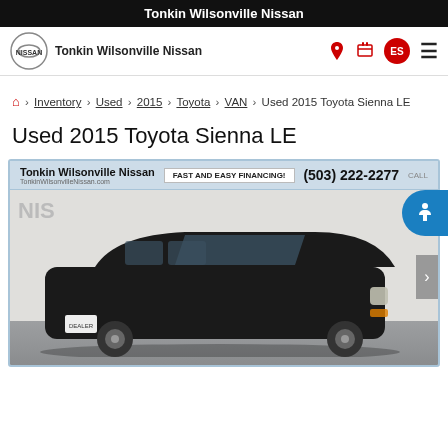Tonkin Wilsonville Nissan
[Figure (screenshot): Navigation bar with Nissan logo, 'Tonkin Wilsonville Nissan' brand name, phone icon, location icon, ES language button, and hamburger menu]
🏠 › Inventory › Used › 2015 › Toyota › VAN › Used 2015 Toyota Sienna LE
Used 2015 Toyota Sienna LE
[Figure (photo): Black 2015 Toyota Sienna LE minivan photographed in front of a white brick wall. Dealer banner at top reads 'Tonkin Wilsonville Nissan', 'FAST AND EASY FINANCING!', and phone number (503) 222-2277.]